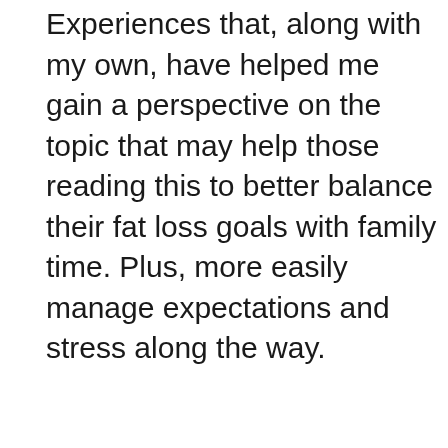Experiences that, along with my own, have helped me gain a perspective on the topic that may help those reading this to better balance their fat loss goals with family time. Plus, more easily manage expectations and stress along the way.